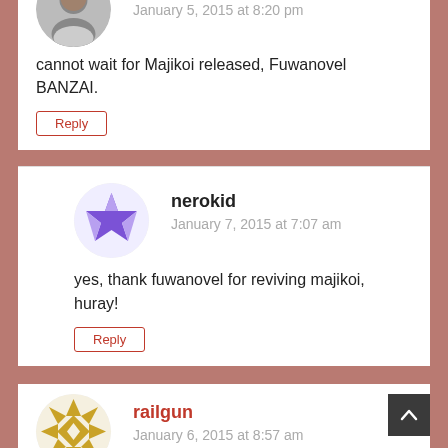[Figure (photo): Partial circular avatar photo of a person, cropped at top]
January 5, 2015 at 8:20 pm
cannot wait for Majikoi released, Fuwanovel BANZAI.
Reply
[Figure (illustration): Purple geometric star/snowflake avatar for user nerokid]
nerokid
January 7, 2015 at 7:07 am
yes, thank fuwanovel for reviving majikoi, huray!
Reply
[Figure (illustration): Gold geometric quilt/star pattern avatar for user railgun]
railgun
January 6, 2015 at 8:57 am
still waiting for the day that cocoro function could be seen 😐